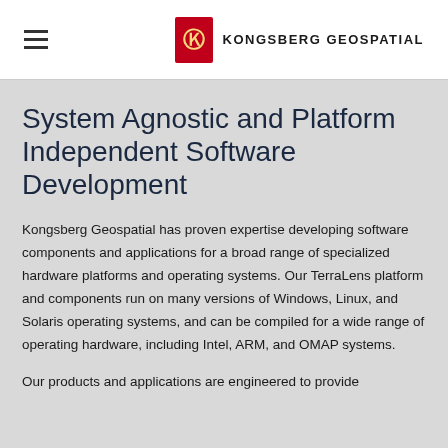KONGSBERG GEOSPATIAL
System Agnostic and Platform Independent Software Development
Kongsberg Geospatial has proven expertise developing software components and applications for a broad range of specialized hardware platforms and operating systems. Our TerraLens platform and components run on many versions of Windows, Linux, and Solaris operating systems, and can be compiled for a wide range of operating hardware, including Intel, ARM, and OMAP systems.
Our products and applications are engineered to provide